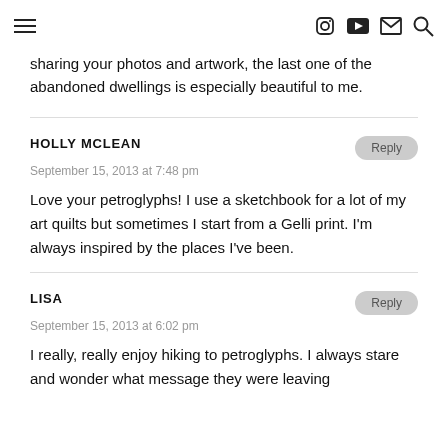navigation header with hamburger menu and icons
sharing your photos and artwork, the last one of the abandoned dwellings is especially beautiful to me.
HOLLY MCLEAN
September 15, 2013 at 7:48 pm
Love your petroglyphs! I use a sketchbook for a lot of my art quilts but sometimes I start from a Gelli print. I'm always inspired by the places I've been.
LISA
September 15, 2013 at 6:02 pm
I really, really enjoy hiking to petroglyphs. I always stare and wonder what message they were leaving